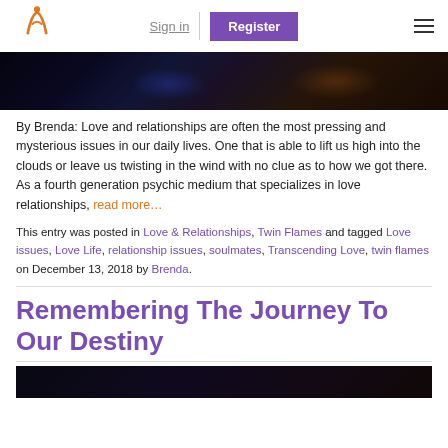Sign in | Register
[Figure (photo): Dark atmospheric background image with blue and orange hues at the top of the page]
By Brenda: Love and relationships are often the most pressing and mysterious issues in our daily lives. One that is able to lift us high into the clouds or leave us twisting in the wind with no clue as to how we got there. As a fourth generation psychic medium that specializes in love relationships, read more...
This entry was posted in Love & Relationships, Twin Flames and tagged Love issues, Love Life, relationship issues, soulmates, Transcending Love, twin flames on December 13, 2018 by Brenda.
Remembering The Journey To Our Destiny
[Figure (photo): Dark atmospheric background image at the bottom of the page]